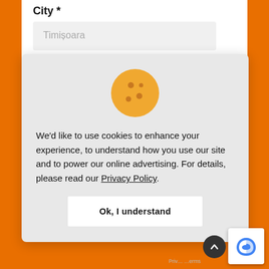City *
Timișoara
[Figure (illustration): Cookie consent modal dialog with a cookie icon (orange circle with chocolate chip dots), text about cookie usage, a Privacy Policy link, and an 'Ok, I understand' button.]
We'd like to use cookies to enhance your experience, to understand how you use our site and to power our online advertising. For details, please read our Privacy Policy.
Ok, I understand